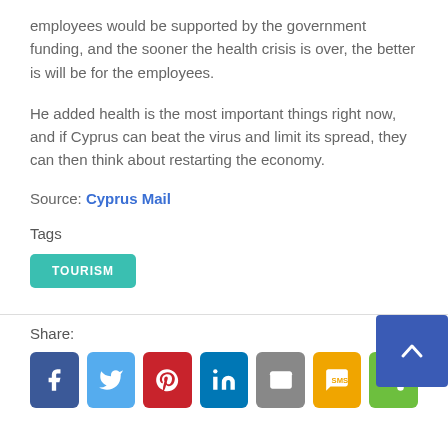employees would be supported by the government funding, and the sooner the health crisis is over, the better is will be for the employees.
He added health is the most important things right now, and if Cyprus can beat the virus and limit its spread, they can then think about restarting the economy.
Source: Cyprus Mail
Tags
TOURISM
Share: